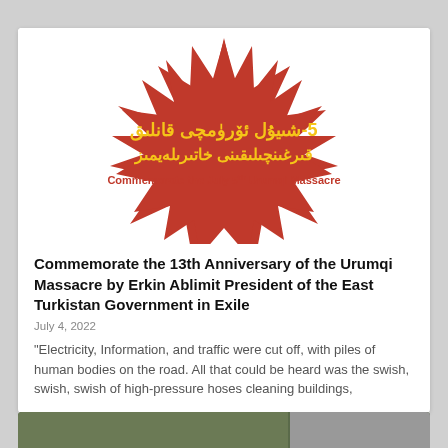[Figure (illustration): Red spiky star/explosion shape with Uyghur script text and English text 'Commemorate the July 5th Urumqi Massacre']
Commemorate the 13th Anniversary of the Urumqi Massacre by Erkin Ablimit President of the East Turkistan Government in Exile
July 4, 2022
“Electricity, Information, and traffic were cut off, with piles of human bodies on the road. All that could be heard was the swish, swish, swish of high-pressure hoses cleaning buildings,
[Figure (photo): Partial photo visible at the bottom of the page showing greenery and a vehicle]